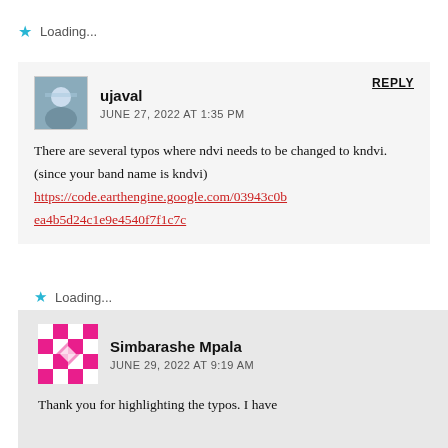Loading...
ujaval
JUNE 27, 2022 AT 1:35 PM
REPLY
There are several typos where ndvi needs to be changed to kndvi. (since your band name is kndvi) https://code.earthengine.google.com/03943c0bea4b5d24c1e9e4540f7f1c7c
Loading...
Simbarashe Mpala
JUNE 29, 2022 AT 9:19 AM
Thank you for highlighting the typos. I have